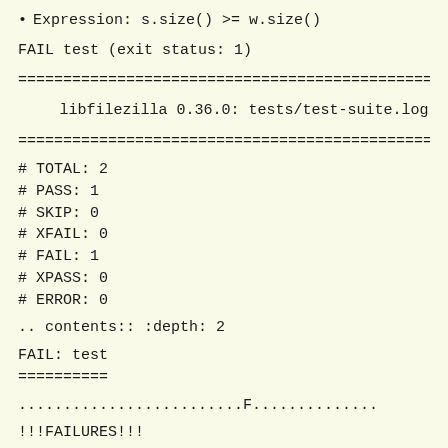Expression: s.size() >= w.size()
FAIL test (exit status: 1)
=======================================================
libfilezilla 0.36.0: tests/test-suite.log
=======================================================
# TOTAL: 2
# PASS: 1
# SKIP: 0
# XFAIL: 0
# FAIL: 1
# XPASS: 0
# ERROR: 0
.. contents:: :depth: 2
FAIL: test
==========
.........................F..............
!!!FAILURES!!!
Test Results: